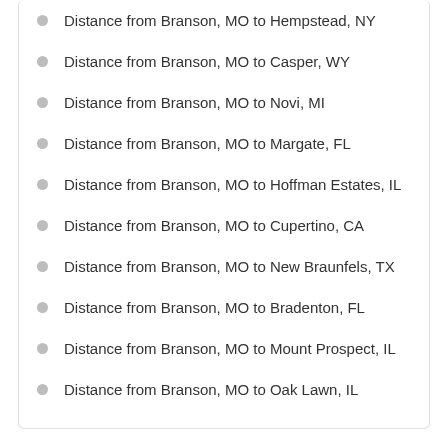Distance from Branson, MO to Hempstead, NY
Distance from Branson, MO to Casper, WY
Distance from Branson, MO to Novi, MI
Distance from Branson, MO to Margate, FL
Distance from Branson, MO to Hoffman Estates, IL
Distance from Branson, MO to Cupertino, CA
Distance from Branson, MO to New Braunfels, TX
Distance from Branson, MO to Bradenton, FL
Distance from Branson, MO to Mount Prospect, IL
Distance from Branson, MO to Oak Lawn, IL
Share this page